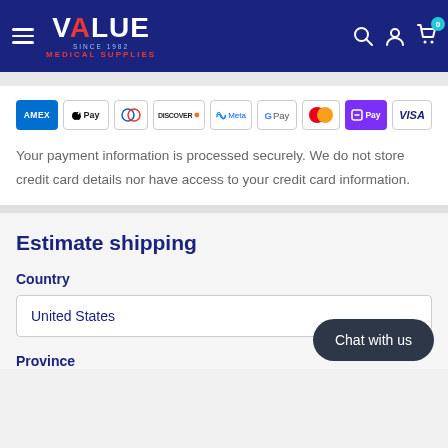Value Medical Supplies — navigation header with logo, search, account, and cart icons
[Figure (logo): Value Medical Supplies logo — white and red text on dark blue background]
[Figure (infographic): Payment method icons: AMEX, Apple Pay, Diners Club, Discover, Meta Pay, Google Pay, Mastercard, OPay, Visa]
Your payment information is processed securely. We do not store credit card details nor have access to your credit card information.
Estimate shipping
Country
United States
Province
Chat with us